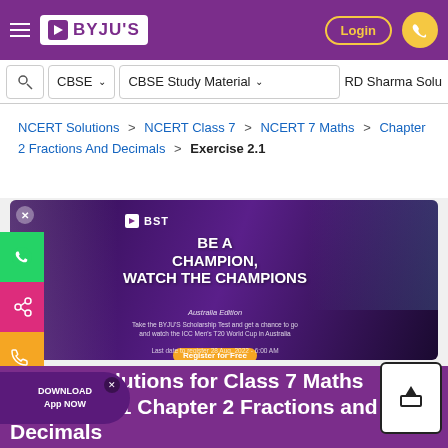BYJU'S - Login
CBSE | CBSE Study Material | RD Sharma Solu
NCERT Solutions > NCERT Class 7 > NCERT 7 Maths > Chapter 2 Fractions And Decimals > Exercise 2.1
[Figure (screenshot): BST promotional banner: BE A CHAMPION, WATCH THE CHAMPIONS - Australia Edition. Take the BYJU'S Scholarship Test and get a chance to go and watch the ICC Men's T20 World Cup in Australia. Register for Free. Last date to register 28 Aug, 2022 - 6:00 AM. Shows a girl studying and Indian cricket team players.]
NCERT Solutions for Class 7 Maths Exercise 2.1 Chapter 2 Fractions and Decimals